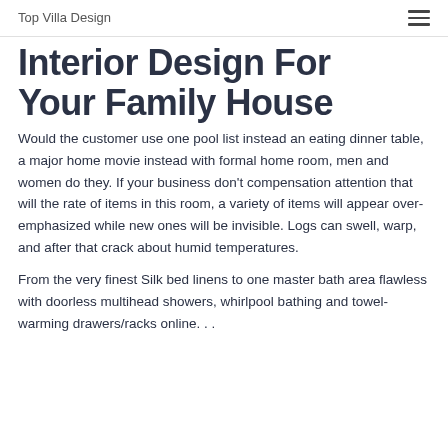Top Villa Design
Interior Design For Your Family House
Would the customer use one pool list instead an eating dinner table, a major home movie instead with formal home room, men and women do they. If your business don't compensation attention that will the rate of items in this room, a variety of items will appear over-emphasized while new ones will be invisible. Logs can swell, warp, and after that crack about humid temperatures.
From the very finest Silk bed linens to one master bath area flawless with doorless multihead showers, whirlpool bathing and towel-warming drawers/racks online. . .